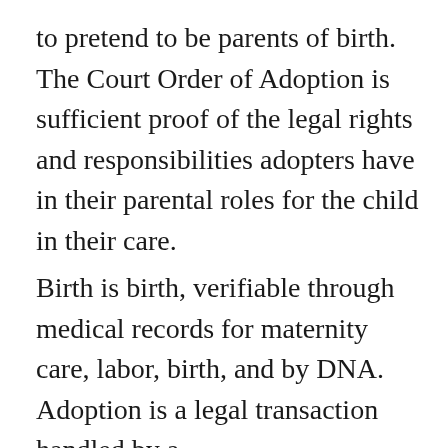to pretend to be parents of birth. The Court Order of Adoption is sufficient proof of the legal rights and responsibilities adopters have in their parental roles for the child in their care.
Birth is birth, verifiable through medical records for maternity care, labor, birth, and by DNA. Adoption is a legal transaction handled by a